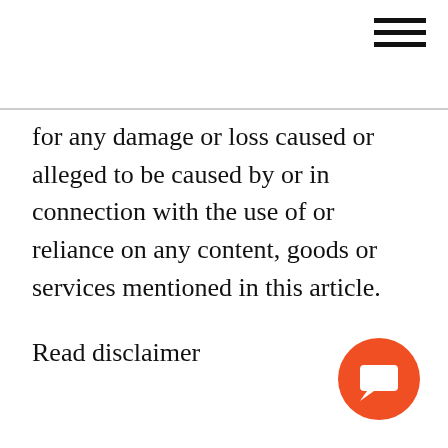[Figure (other): Hamburger menu icon (three horizontal lines) in top right corner]
for any damage or loss caused or alleged to be caused by or in connection with the use of or reliance on any content, goods or services mentioned in this article.
Read disclaimer
[Figure (other): Orange circular chat/comment button in bottom right corner with a speech bubble icon]